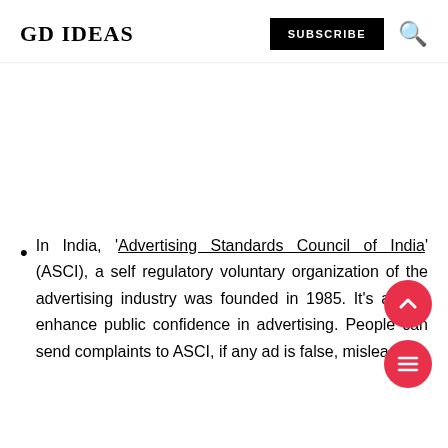GD IDEAS  SUBSCRIBE
In India, 'Advertising Standards Council of India' (ASCI), a self regulatory voluntary organization of the advertising industry was founded in 1985. It's aim to enhance public confidence in advertising. People can send complaints to ASCI, if any ad is false, misleading or offensive.